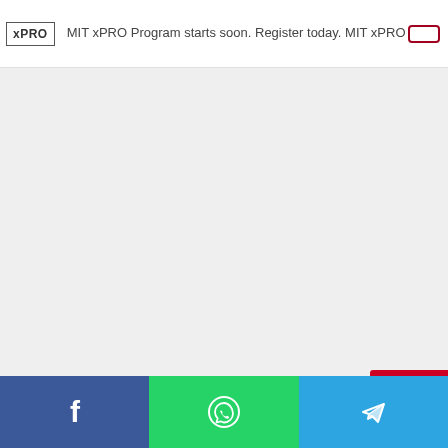[Figure (screenshot): MIT xPRO advertisement banner with logo, text 'MIT xPRO Program starts soon. Register today. MIT xPRO' and a register button]
[Figure (screenshot): Gray content area with collapse/accordion tab showing up-arrow chevron at top left]
[Figure (screenshot): Social share bar at bottom with Facebook (blue), WhatsApp (green), and Telegram (light blue) icons]